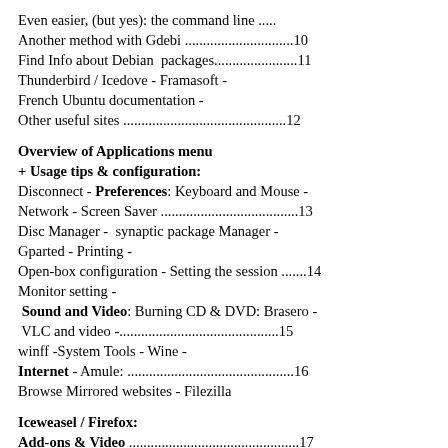Even easier, (but yes): the command line .....
Another method with Gdebi ..............................10
Find Info about Debian  packages.......................11
Thunderbird / Icedove - Framasoft -
French Ubuntu documentation -
Other useful sites .............................................12
Overview of Applications menu
+ Usage tips & configuration:
Disconnect - Preferences: Keyboard and Mouse -
Network - Screen Saver ......................................13
Disc Manager -  synaptic package Manager -
Gparted - Printing -
Open-box configuration - Setting the session .......14
Monitor setting -
 Sound and Video: Burning CD & DVD: Brasero -
 VLC and video -.............................................15
winff -System Tools - Wine -
Internet - Amule: ...............................................16
Browse Mirrored websites - Filezilla
Iceweasel / Firefox:
Add-ons & Video ...............................................17
Flashplayer problem?
Going without Flashplayer .................................18